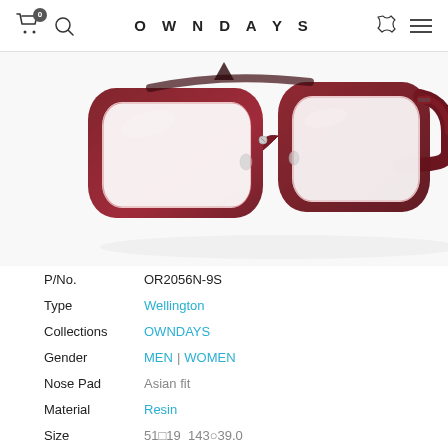OWNDAYS
[Figure (photo): Close-up photo of dark red/maroon Wellington-style eyeglasses frame on white background, showing the front frame and temple arm at an angle.]
| P/No. | OR2056N-9S |
| Type | Wellington |
| Collections | OWNDAYS |
| Gender | MEN | WOMEN |
| Nose Pad | Asian fit |
| Material | Resin |
| Size | 51□19  143○39.0 |